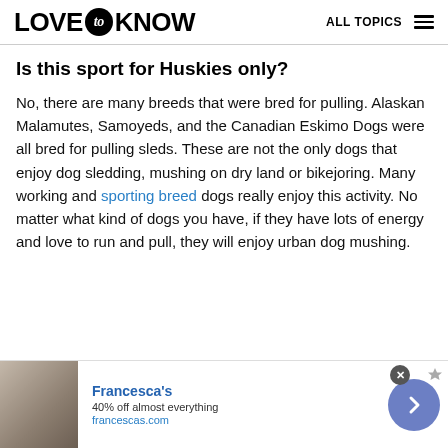LOVE to KNOW   ALL TOPICS
Is this sport for Huskies only?
No, there are many breeds that were bred for pulling. Alaskan Malamutes, Samoyeds, and the Canadian Eskimo Dogs were all bred for pulling sleds. These are not the only dogs that enjoy dog sledding, mushing on dry land or bikejoring. Many working and sporting breed dogs really enjoy this activity. No matter what kind of dogs you have, if they have lots of energy and love to run and pull, they will enjoy urban dog mushing.
[Figure (screenshot): Advertisement banner for Francesca's: '40% off almost everything' at francescas.com, showing a woman in white clothing, with a blue circular chevron button on the right.]